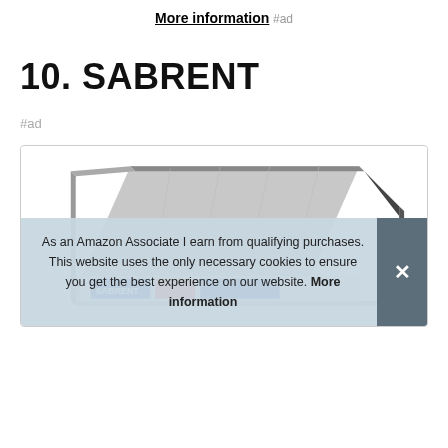More information #ad
10. SABRENT
#ad
[Figure (photo): Product photo of Sabrent device (appears to be a docking station or hard drive enclosure), partially visible with metal casing]
As an Amazon Associate I earn from qualifying purchases. This website uses the only necessary cookies to ensure you get the best experience on our website. More information